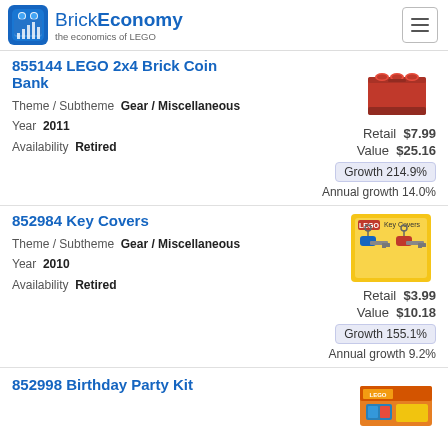BrickEconomy — the economics of LEGO
855144 LEGO 2x4 Brick Coin Bank
Theme / Subtheme  Gear / Miscellaneous
Year  2011
Availability  Retired
Retail $7.99
Value $25.16
Growth 214.9%
Annual growth 14.0%
852984 Key Covers
Theme / Subtheme  Gear / Miscellaneous
Year  2010
Availability  Retired
Retail $3.99
Value $10.18
Growth 155.1%
Annual growth 9.2%
852998 Birthday Party Kit